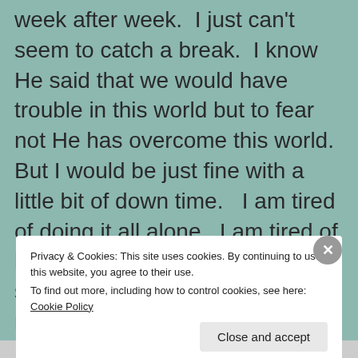week after week. I just can't seem to catch a break. I know He said that we would have trouble in this world but to fear not He has overcome this world. But I would be just fine with a little bit of down time. I am tired of doing it all alone. I am tired of having no one to lean on and share these burdens with. I am mad that he is gone and that there is nothing I c...
Privacy & Cookies: This site uses cookies. By continuing to use this website, you agree to their use.
To find out more, including how to control cookies, see here: Cookie Policy
Close and accept